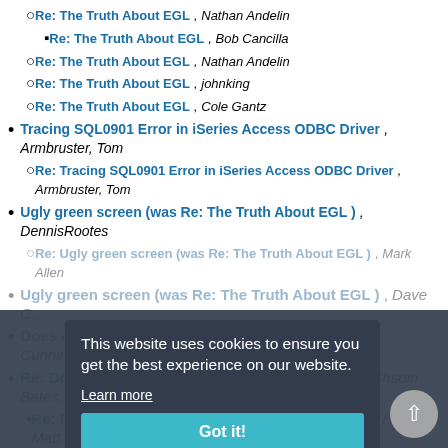Re: The Truth About EGL , Nathan Andelin
Re: The Truth About EGL , Bob Cancilla
Re: The Truth About EGL , Nathan Andelin
Re: The Truth About EGL , johnking
Re: The Truth About EGL , Cole Gantz
Tracing SQL0901 Error in iSeries Access ODBC Driver , Armbruster, Tom
Re: Tracing SQL0901 Error in iSeries Access ODBC Driver , Armbruster, Tom
Ugly green screen (was Re: The Truth About EGL ) , DennisRootes
Re: Ugly green screen (was Re: The Truth About EGL ) , Mark Allen
Ugly green screen (was Re: The Truth About EGL ) , Dave Corcoles
Does anyone know if this is valid in Apache , Mike Cunningham
Re: Does anyone know if this is valid in Apache , Chsoin Bates
Re: Does anyone know if this is valid in Apache , Haas, Matt (CL Tech Sv)
Re: Does anyone know if this is valid in Apache , Chsoin Bates
Re: Does anyone know if this is valid in Apache ,